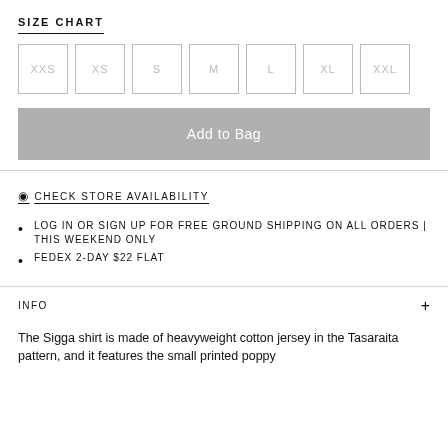SIZE CHART
[Figure (other): Size selector buttons: XXS, XS, S, M, L, XL, XXL — all shown as light gray outlined squares, unselected]
Add to Bag
CHECK STORE AVAILABILITY
LOG IN OR SIGN UP FOR FREE GROUND SHIPPING ON ALL ORDERS | THIS WEEKEND ONLY
FEDEX 2-DAY $22 FLAT
INFO
The Sigga shirt is made of heavyweight cotton jersey in the Tasaraita pattern, and it features the small printed poppy